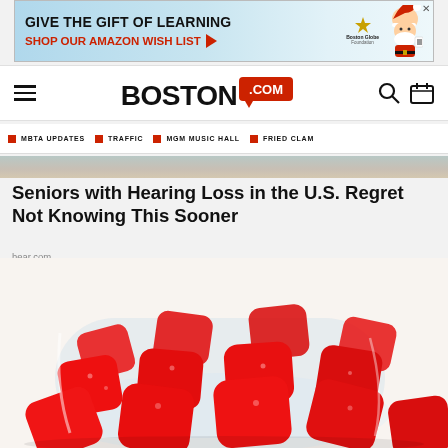[Figure (other): Advertisement banner: 'GIVE THE GIFT OF LEARNING / SHOP OUR AMAZON WISH LIST' with arrow, Boston Globe Foundation logo, and Santa Claus illustration]
BOSTON.COM navigation bar with hamburger menu, Boston.com logo, search and calendar icons
■ MBTA UPDATES  ■ TRAFFIC  ■ MGM MUSIC HALL  ■ FRIED CLAM
[Figure (photo): Partial photo showing a blurred background — part of a larger article hero image]
Seniors with Hearing Loss in the U.S. Regret Not Knowing This Sooner
hear.com
[Figure (photo): Photo of red gummy candy pieces spilling out of a glass jar on a white background]